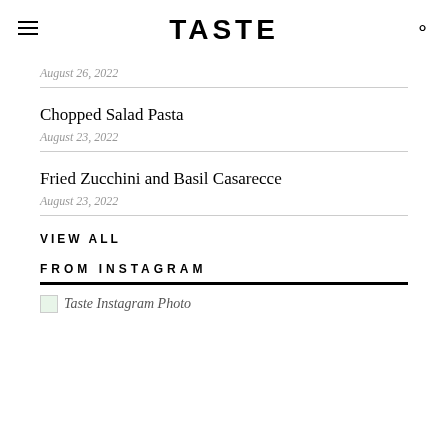TASTE
August 26, 2022
Chopped Salad Pasta
August 23, 2022
Fried Zucchini and Basil Casarecce
August 23, 2022
VIEW ALL
FROM INSTAGRAM
[Figure (photo): Taste Instagram Photo placeholder image]